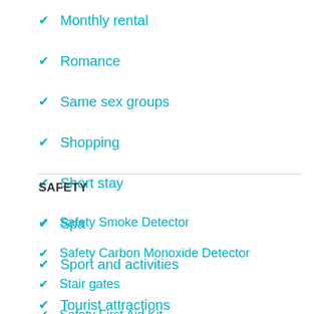Monthly rental
Romance
Same sex groups
Shopping
Short stay
Spa
Sport and activities
Tourist attractions
SAFETY
Safety Smoke Detector
Safety Carbon Monoxide Detector
Stair gates
Safety First Aid Kit
Safety Safety Card
Safety Fire Extinguisher
Safety Enhanced Cleaning Practices